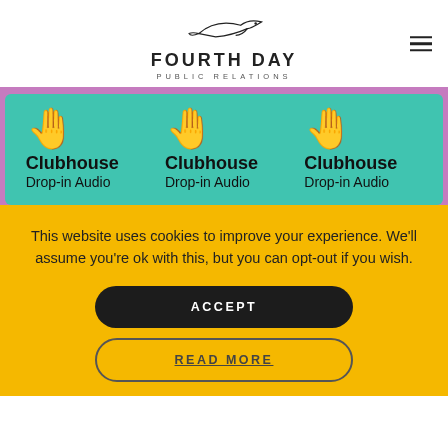[Figure (logo): Fourth Day Public Relations logo with stylized bird above text]
[Figure (illustration): Three Clubhouse app icons with waving hand emoji on teal background inside purple band. Each shows waving hand emoji with 'Clubhouse' bold and 'Drop-in Audio' below.]
This website uses cookies to improve your experience. We'll assume you're ok with this, but you can opt-out if you wish.
ACCEPT
READ MORE